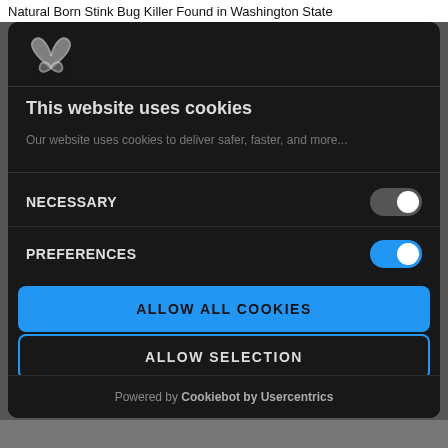Natural Born Stink Bug Killer Found in Washington State
[Figure (screenshot): Cookie consent modal overlay on a dark background. Contains a Cookiebot logo, title 'This website uses cookies', description text, NECESSARY toggle (off/grey), PREFERENCES toggle (on/blue), ALLOW ALL COOKIES button (blue), ALLOW SELECTION button (dark with blue border), and footer 'Powered by Cookiebot by Usercentrics'.]
This website uses cookies
Our website uses cookies to deliver safer, faster, and more...
NECESSARY
PREFERENCES
ALLOW ALL COOKIES
ALLOW SELECTION
Powered by Cookiebot by Usercentrics